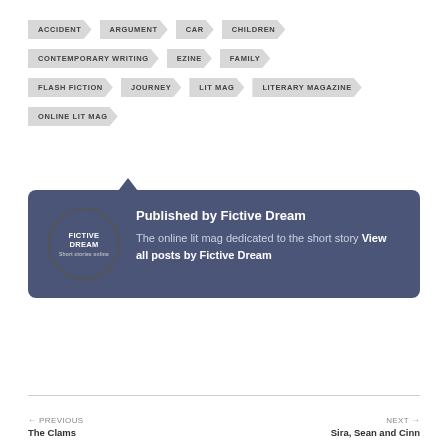ACCIDENT
ARGUMENT
CAR
CHILDREN
CONTEMPORARY WRITING
EZINE
FAMILY
FLASH FICTION
JOURNEY
LIT MAG
LITERARY MAGAZINE
ONLINE LIT MAG
Published by Fictive Dream
The online lit mag dedicated to the short story View all posts by Fictive Dream
← PREVIOUS The Clams | NEXT → Sira, Sean and Cinn